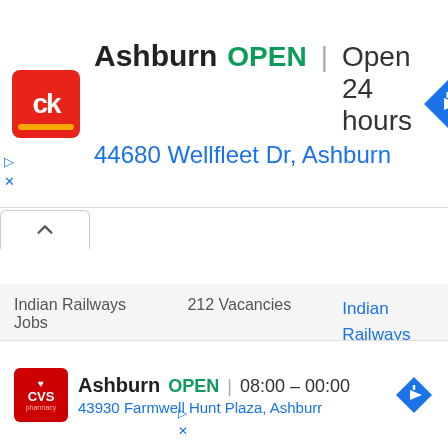[Figure (screenshot): Top advertisement banner for Circle K in Ashburn showing OPEN status, 24 hours, and address 44680 Wellfleet Dr, Ashburn with navigation icon]
| Job Category | Vacancies | Link |
| --- | --- | --- |
| Indian Railways Jobs | 212 Vacancies | Indian Railways Recruitment 2022 |
| IRCTC Jobs | 126 Vacancies | IRCTC Recruitment 2022 |
| RITES Jobs | 21 Vacancies | RITES Recruitment |
[Figure (screenshot): Bottom advertisement banner for CVS Pharmacy in Ashburn showing OPEN 08:00-00:00, address 43930 Farmwell Hunt Plaza, Ashburn with navigation icon]